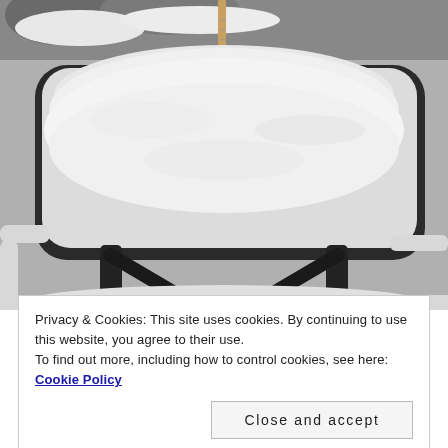[Figure (photo): A snow-covered outdoor table with metal frame and chairs, with a ruler/stake standing upright in the snow on the table surface. Snowy winter scene, grayscale tones.]
Privacy & Cookies: This site uses cookies. By continuing to use this website, you agree to their use.
To find out more, including how to control cookies, see here: Cookie Policy
Close and accept